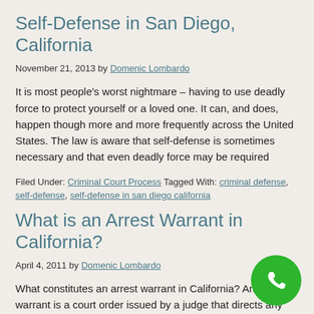Self-Defense in San Diego, California
November 21, 2013 by Domenic Lombardo
It is most people's worst nightmare – having to use deadly force to protect yourself or a loved one. It can, and does, happen though more and more frequently across the United States. The law is aware that self-defense is sometimes necessary and that even deadly force may be required
Filed Under: Criminal Court Process Tagged With: criminal defense, self-defense, self-defense in san diego california
What is an Arrest Warrant in California?
April 4, 2011 by Domenic Lombardo
What constitutes an arrest warrant in California? An arrest warrant is a court order issued by a judge that directs any peace